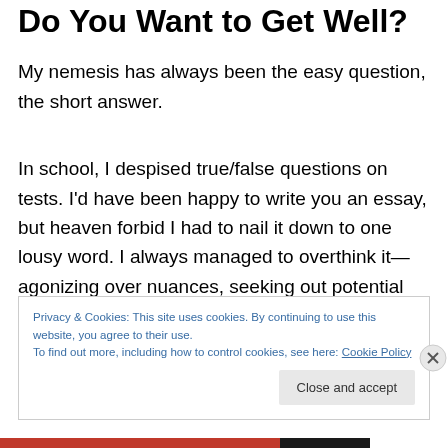Do You Want to Get Well?
My nemesis has always been the easy question, the short answer.
In school, I despised true/false questions on tests. I'd have been happy to write you an essay, but heaven forbid I had to nail it down to one lousy word. I always managed to overthink it—agonizing over nuances, seeking out potential loopholes, and doing mental gymnastics until my
Privacy & Cookies: This site uses cookies. By continuing to use this website, you agree to their use.
To find out more, including how to control cookies, see here: Cookie Policy